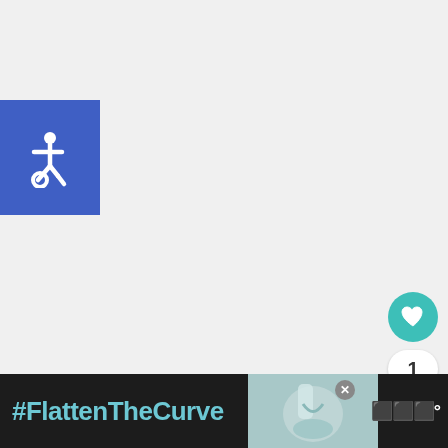[Figure (logo): Blue square with white wheelchair accessibility icon]
[Figure (other): Teal circular heart/like button with count of 1 and share button]
Hefty Sandwich Bags 13-15 ct. $1.00
Use $1.00/2 printable here (slider and higher)
[Figure (screenshot): What's Next panel with Easy Messy Bun for Lon... and thumbnail]
[Figure (other): Bottom advertisement banner with #FlattenTheCurve text, hand washing image, and logo]
#FlattenTheCurve